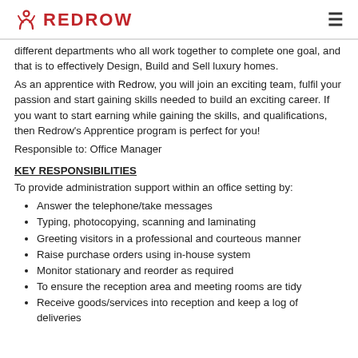REDROW
different departments who all work together to complete one goal, and that is to effectively Design, Build and Sell luxury homes.
As an apprentice with Redrow, you will join an exciting team, fulfil your passion and start gaining skills needed to build an exciting career. If you want to start earning while gaining the skills, and qualifications, then Redrow's Apprentice program is perfect for you!
Responsible to: Office Manager
KEY RESPONSIBILITIES
To provide administration support within an office setting by:
Answer the telephone/take messages
Typing, photocopying, scanning and laminating
Greeting visitors in a professional and courteous manner
Raise purchase orders using in-house system
Monitor stationary and reorder as required
To ensure the reception area and meeting rooms are tidy
Receive goods/services into reception and keep a log of deliveries